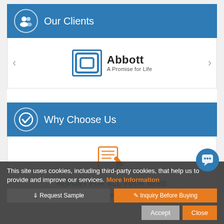Our Clients
[Figure (logo): Abbott - A Promise for Life logo with blue square bracket icon]
Why Choose Us
[Figure (illustration): Orange report/document with pen icon]
REPORT FOR ALL YOUR NEED
Get from one of the finest selection of Market Research
This site uses cookies, including third-party cookies, that help us to provide and improve our services. More Information
Request Sample  Inquiry Before Buying  Accept  Close